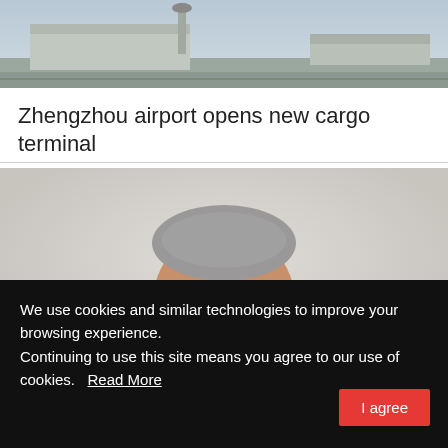[Figure (photo): Aerial photo of Zhengzhou airport showing runway, terminal building and control tower under overcast sky]
Zhengzhou airport opens new cargo terminal
[Figure (photo): Portrait photo of a middle-aged man with grey hair wearing a dark navy blazer, smiling slightly against a light background]
We use cookies and similar technologies to improve your browsing experience.
Continuing to use this site means you agree to our use of cookies.   Read More